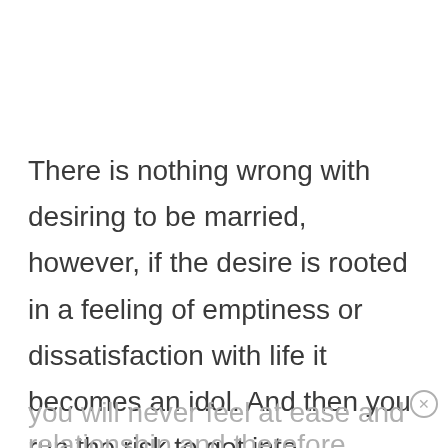There is nothing wrong with desiring to be married, however, if the desire is rooted in a feeling of emptiness or dissatisfaction with life it becomes an idol. And then you run the risk to get into unhealthy or even toxic relationships. Because if you don't love yourself and feel confident in who you are
you will never feel at ease and contempt in a relationship and therefore...